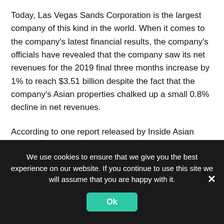Today, Las Vegas Sands Corporation is the largest company of this kind in the world. When it comes to the company's latest financial results, the company's officials have revealed that the company saw its net revenues for the 2019 final three months increase by 1% to reach $3.51 billion despite the fact that the company's Asian properties chalked up a small 0.8% decline in net revenues.
According to one report released by Inside Asian Gaming, this Las Vegas-based company saw its operational income regarding the fourth-quarter increased by around 6.9% to reach $934 million. It was also reported that the company at
We use cookies to ensure that we give you the best experience on our website. If you continue to use this site we will assume that you are happy with it.